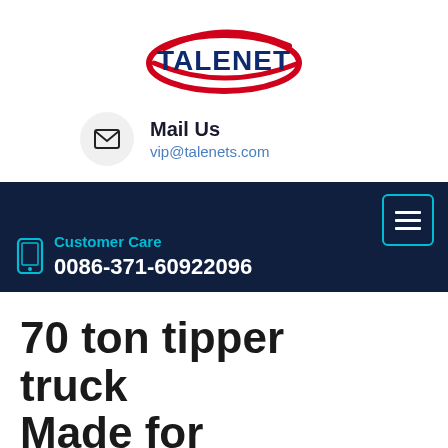[Figure (logo): TALENET company logo with red oval swoosh and dark blue bold text]
Mail Us
vip@talenets.com
[Figure (infographic): Dark navy navigation bar with hamburger menu icon (cyan border), phone icon, Customer Care label in cyan, and phone number 0086-371-60922096 in white]
70 ton tipper truck Made for Various